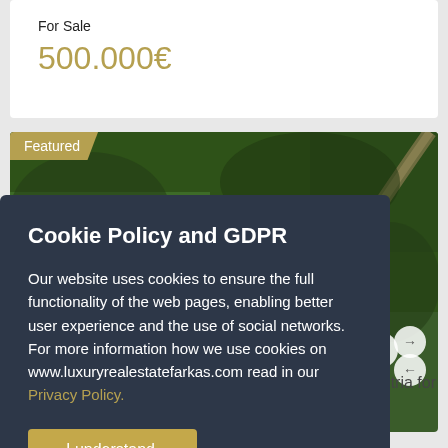For Sale
500.000€
Featured
[Figure (photo): Aerial view of green forest/farmland with a road winding through it]
tria for
Cookie Policy and GDPR
Our website uses cookies to ensure the full functionality of the web pages, enabling better user experience and the use of social networks. For more information how we use cookies on www.luxuryrealestatefarkas.com read in our Privacy Policy.
I understand.